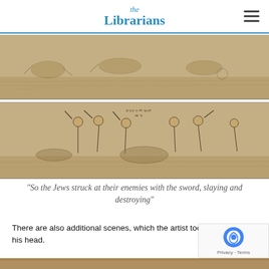the Librarians
[Figure (illustration): Historical engraving showing fallen figures on the ground, a battle scene from above]
[Figure (illustration): Historical engraving of a battle scene with multiple figures wielding swords and weapons, fighting one another]
“So the Jews struck at their enemies with the sword, slaying and destroying”
There are also additional scenes, which the artist took from the Talmud: We see Haman leading a horse as his own d… throws wastewater onto his head.